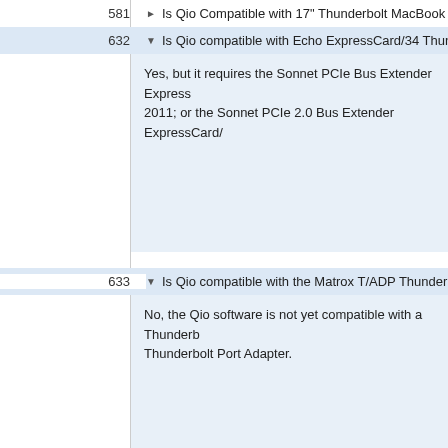581 ▶ Is Qio Compatible with 17" Thunderbolt MacBook Pro?
632 ▼ Is Qio compatible with Echo ExpressCard/34 Thunderbolt A...
Yes, but it requires the Sonnet PCIe Bus Extender Express... 2011; or the Sonnet PCIe 2.0 Bus Extender ExpressCard/...
633 ▼ Is Qio compatible with the Matrox T/ADP Thunderbolt Port ...
No, the Qio software is not yet compatible with a Thunderb... Thunderbolt Port Adapter.
639 ▼ Is the Qio PCIe 2.0 Bus Extender card compatible in all slo...
No, the Qio PCIe 2.0 Bus Extender card does not work in t...